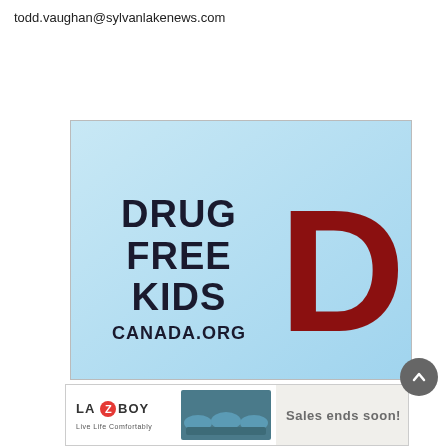todd.vaughan@sylvanlakenews.com
[Figure (logo): Drug Free Kids Canada logo on light blue background with large red D letter and text DRUG FREE KIDS CANADA.ORG]
[Figure (photo): La-Z-Boy advertisement banner: Sales ends soon! with teal sofa image]